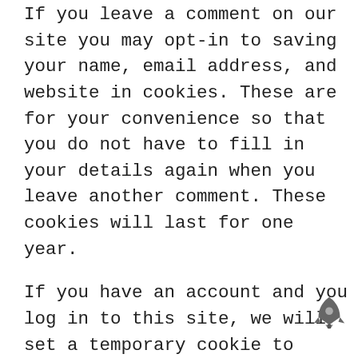If you leave a comment on our site you may opt-in to saving your name, email address, and website in cookies. These are for your convenience so that you do not have to fill in your details again when you leave another comment. These cookies will last for one year.
If you have an account and you log in to this site, we will set a temporary cookie to determine if your browser accepts cookies. This cookie contains no personal data and is discarded when you close your browser.
When you log in, we will also set up several cookies to save your login information and your screen display choices. Login cookies last for two days, and screen options cookies last for a year. If you